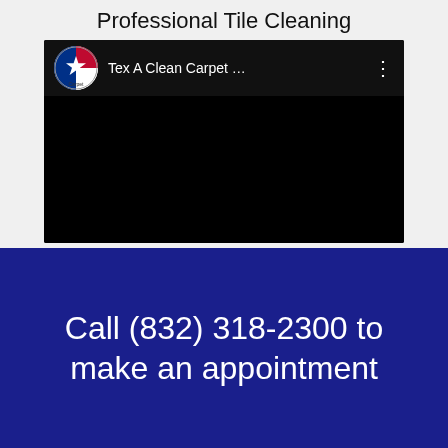Professional Tile Cleaning
[Figure (screenshot): YouTube video thumbnail showing Tex A Clean Carpet channel logo and dark/black video content area]
Call (832) 318-2300 to make an appointment